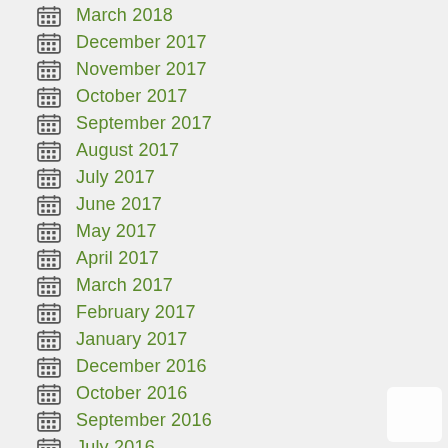March 2018
December 2017
November 2017
October 2017
September 2017
August 2017
July 2017
June 2017
May 2017
April 2017
March 2017
February 2017
January 2017
December 2016
October 2016
September 2016
July 2016